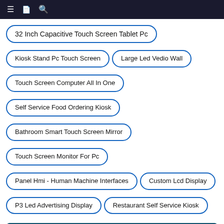Navigation bar with menu, bookmark, and search icons
32 Inch Capacitive Touch Screen Tablet Pc
Kiosk Stand Pc Touch Screen
Large Led Vedio Wall
Touch Screen Computer All In One
Self Service Food Ordering Kiosk
Bathroom Smart Touch Screen Mirror
Touch Screen Monitor For Pc
Panel Hmi - Human Machine Interfaces
Custom Lcd Display
P3 Led Advertising Display
Restaurant Self Service Kiosk
Leave Your Message